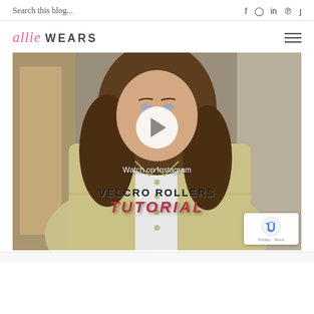Search this blog...
allie WEARS
[Figure (screenshot): Video thumbnail of a woman with brown wavy hair wearing a yellow/khaki shirt, with a play button overlay, 'Watch on Instagram' text, and 'VELCRO ROLLERS TUTORIAL' text overlay at the bottom. A reCAPTCHA / Privacy - Terms badge appears in the bottom right corner.]